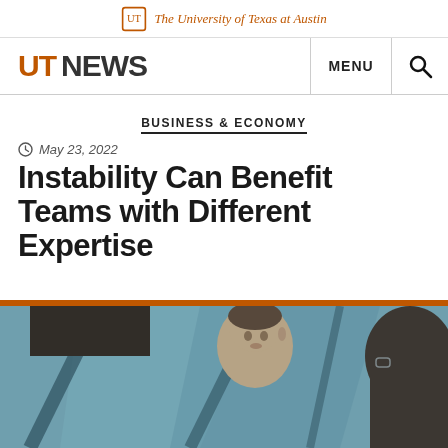The University of Texas at Austin
UT NEWS  MENU
BUSINESS & ECONOMY
May 23, 2022
Instability Can Benefit Teams with Different Expertise
[Figure (photo): Photo of people in a meeting or discussion, with one person facing camera and others visible from behind, in a modern office or glass-walled space]